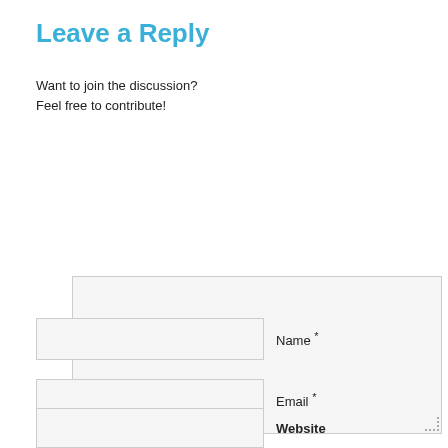Leave a Reply
Want to join the discussion?
Feel free to contribute!
[Figure (other): Large comment textarea input field with resize handle at bottom-right]
Name *
[Figure (other): Name text input field]
Email *
[Figure (other): Email text input field]
Website
[Figure (other): Website text input field]